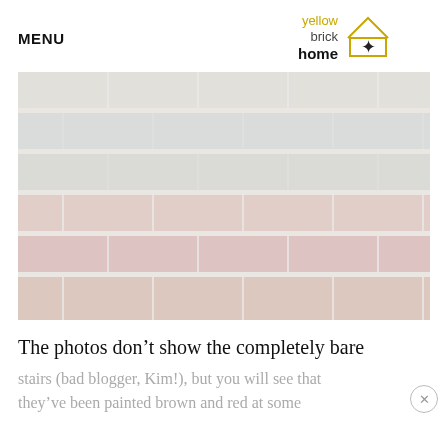MENU | yellow brick home (logo)
[Figure (photo): Close-up photograph of brick wall showing horizontal rows of old bricks in muted pinkish-red, gray, and tan tones with mortar lines visible. The image appears washed out and faded.]
The photos don't show the completely bare stairs (bad blogger, Kim!), but you will see that they've been painted brown and red at some